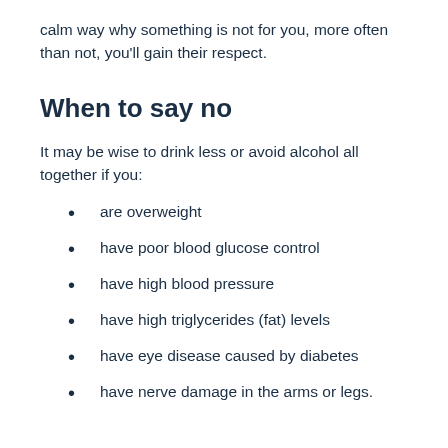calm way why something is not for you, more often than not, you'll gain their respect.
When to say no
It may be wise to drink less or avoid alcohol all together if you:
are overweight
have poor blood glucose control
have high blood pressure
have high triglycerides (fat) levels
have eye disease caused by diabetes
have nerve damage in the arms or legs.